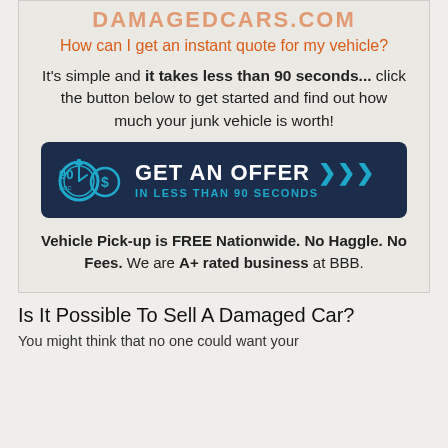DAMAGEDCARS.COM
How can I get an instant quote for my vehicle?
It's simple and it takes less than 90 seconds... click the button below to get started and find out how much your junk vehicle is worth!
[Figure (infographic): Dark navy blue CTA button with stopwatch/coin icon and text: GET AN OFFER IN LESS THAN 90 SECONDS with arrow chevrons]
Vehicle Pick-up is FREE Nationwide. No Haggle. No Fees. We are A+ rated business at BBB.
Is It Possible To Sell A Damaged Car?
You might think that no one could want your